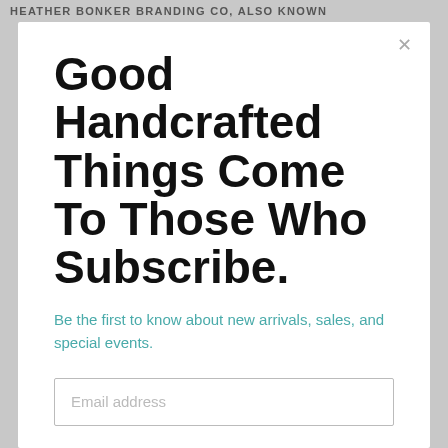HEATHER BONKER BRANDING CO, ALSO KNOWN
Good Handcrafted Things Come To Those Who Subscribe.
Be the first to know about new arrivals, sales, and special events.
Email address
What are you interested in hearing about?
MyMakerSchool